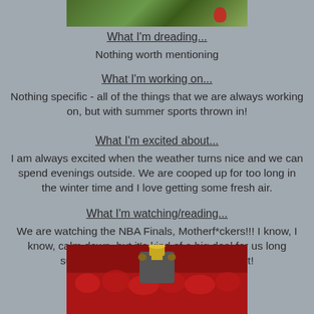[Figure (photo): Top portion of a sports photo showing green grass background with a red object]
What I'm dreading...
Nothing worth mentioning
What I'm working on...
Nothing specific - all of the things that we are always working on, but with summer sports thrown in!
What I'm excited about...
I am always excited when the weather turns nice and we can spend evenings outside.  We are cooped up for too long in the winter time and I love getting some fresh air.
What I'm watching/reading...
We are watching the NBA Finals, Motherf*ckers!!! I know, I know, calm down, but it's kind of a big deal for us long suffering Raptor fans.  We are here for it!
[Figure (photo): Sports fan photo showing people in red holding up a trophy, appears to be Toronto Raptors NBA Finals celebration]